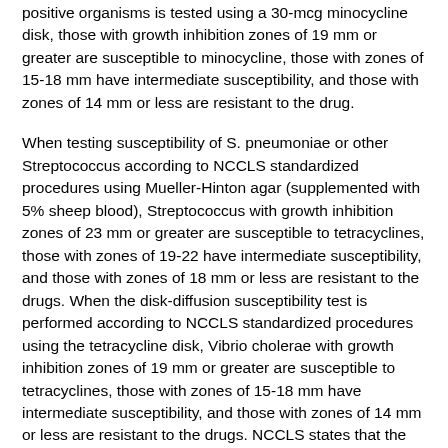positive organisms is tested using a 30-mcg minocycline disk, those with growth inhibition zones of 19 mm or greater are susceptible to minocycline, those with zones of 15-18 mm have intermediate susceptibility, and those with zones of 14 mm or less are resistant to the drug.
When testing susceptibility of S. pneumoniae or other Streptococcus according to NCCLS standardized procedures using Mueller-Hinton agar (supplemented with 5% sheep blood), Streptococcus with growth inhibition zones of 23 mm or greater are susceptible to tetracyclines, those with zones of 19-22 have intermediate susceptibility, and those with zones of 18 mm or less are resistant to the drugs. When the disk-diffusion susceptibility test is performed according to NCCLS standardized procedures using the tetracycline disk, Vibrio cholerae with growth inhibition zones of 19 mm or greater are susceptible to tetracyclines, those with zones of 15-18 mm have intermediate susceptibility, and those with zones of 14 mm or less are resistant to the drugs. NCCLS states that the doxycycline disk should not be used for testing susceptibility of V. cholerae since there is poor correlation between results of this test and MIC results.
Dilution Susceptibility Tests